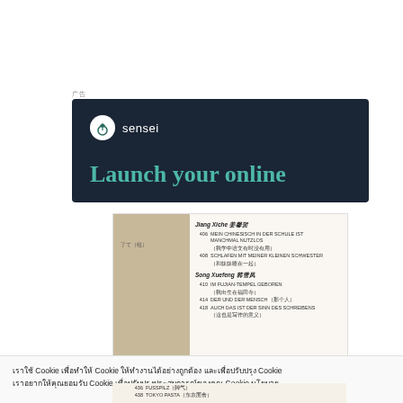广告
[Figure (screenshot): Sensei platform advertisement banner with dark navy background showing logo and text 'Launch your online']
[Figure (photo): Photo of an open book showing table of contents with entries in German and Chinese for authors Jiang Xiche and Song Xuefeng, with page numbers 406, 408, 410, 414, 418]
เราใช้ Cookie เพื่อทำให้ Cookie ให้ทำงานได้อย่างถูกต้อง และเพื่อปรับปรุง Cookie เราอยากให้คุณยอมรับ Cookie เพื่อปรับปรุงประสบการณ์ของคุณ Cookie นโยบาย
[Figure (photo): Partial bottom of book photo showing entries 436 FUSSPILZ and 438 TOKYO PASTA]